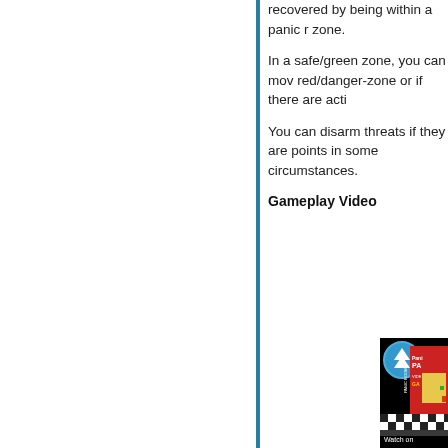recovered by being within a panic room zone.
In a safe/green zone, you can move red/danger-zone or if there are acti
You can disarm threats if they are f points in some circumstances.
Gameplay Video
[Figure (screenshot): Video thumbnail showing Panic Rooms board game with blue circular logo, red game box labeled 'PANIC ROOMS', black and white checkered floor pattern, yellow room interior, and 'Watch on' bar at bottom.]